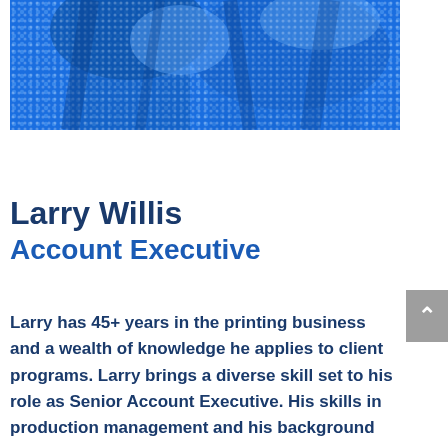[Figure (photo): Blue-tinted halftone photo of a person, partial view, blue and white tones]
Larry Willis
Account Executive
Larry has 45+ years in the printing business and a wealth of knowledge he applies to client programs. Larry brings a diverse skill set to his role as Senior Account Executive. His skills in production management and his background on the press give him unique insight into the most cost-effective ways to execute client print for